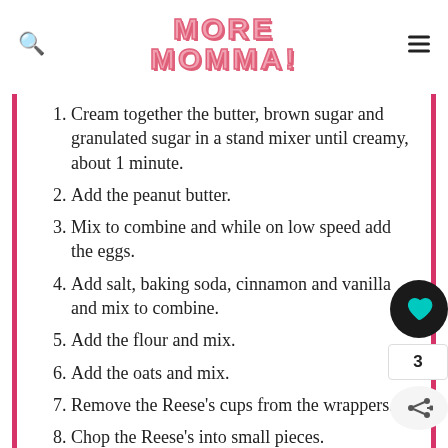MORE MOMMA!
Cream together the butter, brown sugar and granulated sugar in a stand mixer until creamy, about 1 minute.
Add the peanut butter.
Mix to combine and while on low speed add the eggs.
Add salt, baking soda, cinnamon and vanilla and mix to combine.
Add the flour and mix.
Add the oats and mix.
Remove the Reese's cups from the wrappers.
Chop the Reese's into small pieces.
Add the Reese's to the cookie dough.